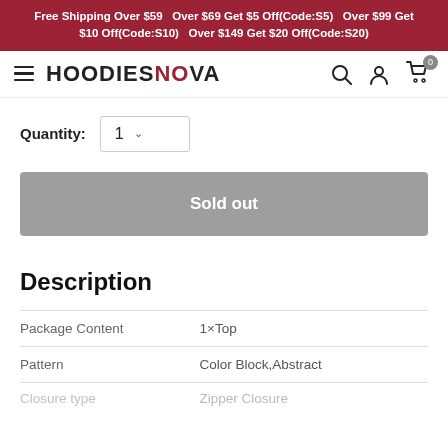Free Shipping Over $59   Over $69 Get $5 Off(Code:S5)   Over $99 Get $10 Off(Code:S10)   Over $149 Get $20 Off(Code:S20)
[Figure (logo): HoodiesNow logo with hamburger menu, search icon, account icon, and cart icon with badge '0']
Quantity: 1
Sold out
Description
| Package Content | 1×Top |
| Pattern | Color Block,Abstract |